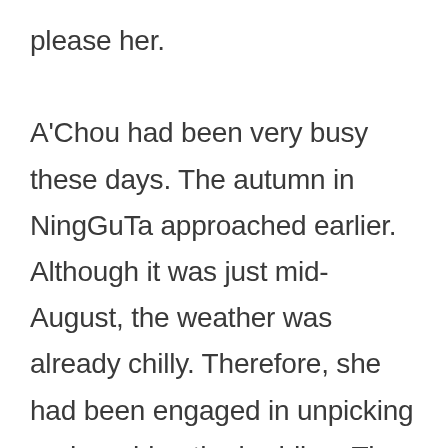please her. A'Chou had been very busy these days. The autumn in NingGuTa approached earlier. Although it was just mid-August, the weather was already chilly. Therefore, she had been engaged in unpicking and washing the bedding. They had five sets of bedding, which was theoretically enough along with some blankets. However, Zhong Mingwei had been paralyzed for too long and she had torn up a lot of sheets to